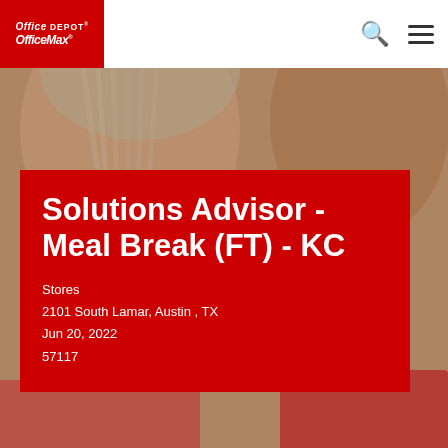Office Depot OfficeMax
[Figure (photo): Background photo of people in a retail store environment, slightly blurred]
Solutions Advisor - Meal Break (FT) - KC
Stores
2101 South Lamar, Austin , TX
Jun 20, 2022
57117